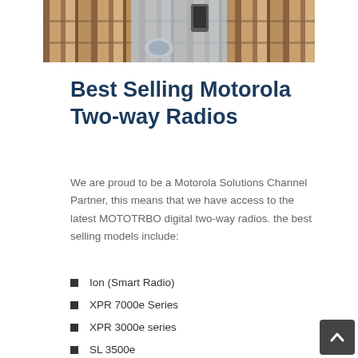[Figure (photo): A person in a library or retail setting, wearing a lanyard/badge and holding a device, with bookshelves visible in the background.]
Best Selling Motorola Two-way Radios
We are proud to be a Motorola Solutions Channel Partner, this means that we have access to the latest MOTOTRBO digital two-way radios. the best selling models include:
Ion (Smart Radio)
XPR 7000e Series
XPR 3000e series
SL 3500e